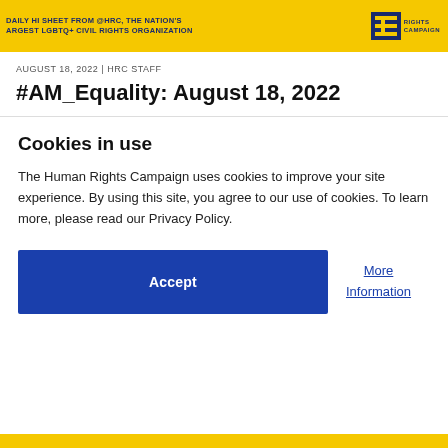DAILY HI SHEET FROM @HRC, THE NATION'S LARGEST LGBTQ+ CIVIL RIGHTS ORGANIZATION
AUGUST 18, 2022 | HRC STAFF
#AM_Equality: August 18, 2022
Cookies in use
The Human Rights Campaign uses cookies to improve your site experience. By using this site, you agree to our use of cookies. To learn more, please read our Privacy Policy.
Accept
More Information